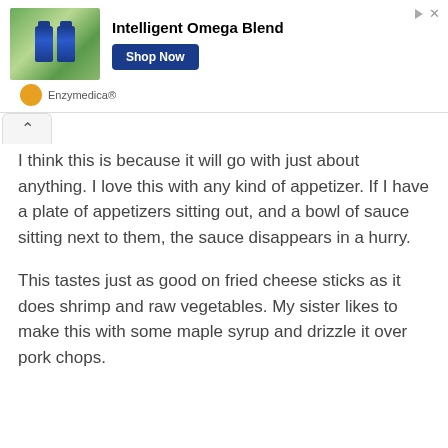[Figure (screenshot): Advertisement banner for Enzymedica Intelligent Omega Blend supplement with supplement bottle photo, bold title text, and Shop Now button]
I think this is because it will go with just about anything. I love this with any kind of appetizer. If I have a plate of appetizers sitting out, and a bowl of sauce sitting next to them, the sauce disappears in a hurry.
This tastes just as good on fried cheese sticks as it does shrimp and raw vegetables. My sister likes to make this with some maple syrup and drizzle it over pork chops.